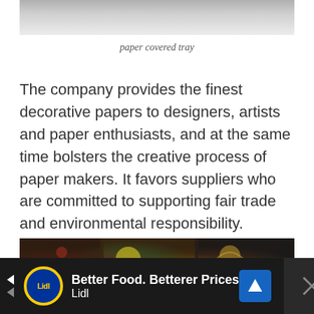[Figure (photo): Bottom portion of a paper covered tray photo, showing light gray surface on white background]
paper covered tray
The company provides the finest decorative papers to designers, artists and paper enthusiasts, and at the same time bolsters the creative process of paper makers. It favors suppliers who are committed to supporting fair trade and environmental responsibility.
[Figure (photo): Photo of colorful decorative papers with floral and swirl patterns in yellow, brown, white, and green colors]
[Figure (other): Advertisement banner for Lidl: Better Food. Betterer Prices]